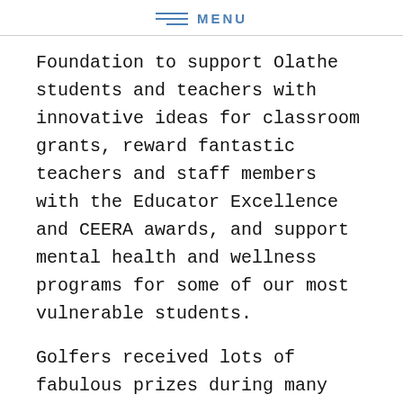MENU
Foundation to support Olathe students and teachers with innovative ideas for classroom grants, reward fantastic teachers and staff members with the Educator Excellence and CEERA awards, and support mental health and wellness programs for some of our most vulnerable students.
Golfers received lots of fabulous prizes during many on-course contests, including the very popular John Deere Winning Ball contest, which rewards teams for completing 18 holes without ever losing